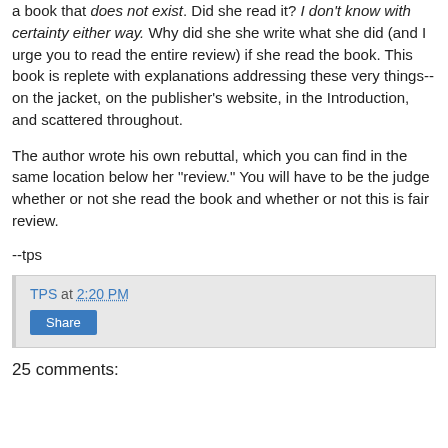a book that does not exist. Did she read it? I don't know with certainty either way. Why did she she write what she did (and I urge you to read the entire review) if she read the book. This book is replete with explanations addressing these very things--on the jacket, on the publisher's website, in the Introduction, and scattered throughout.
The author wrote his own rebuttal, which you can find in the same location below her "review." You will have to be the judge whether or not she read the book and whether or not this is fair review.
--tps
TPS at 2:20 PM
Share
25 comments: